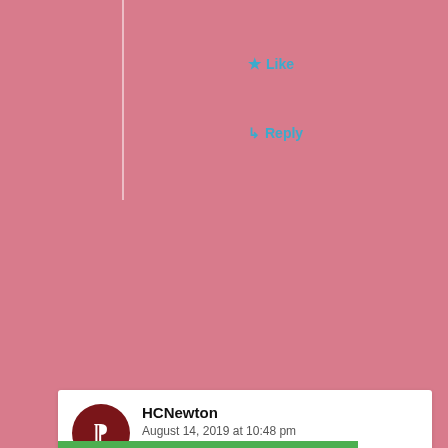★ Like
↳ Reply
HCNewton
August 14, 2019 at 10:48 pm
Privacy & Cookies: This site uses cookies. By continuing to use this website, you agree to their use.
To find out more, including how to control cookies, see here: Cookie Policy
Close and accept